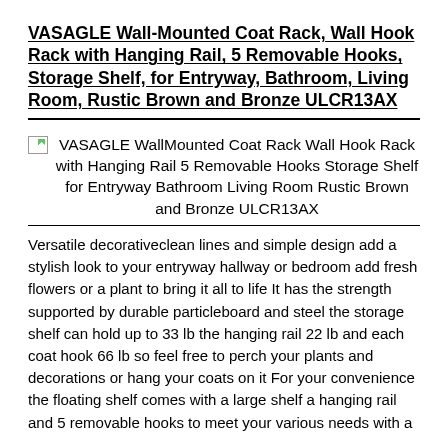VASAGLE Wall-Mounted Coat Rack, Wall Hook Rack with Hanging Rail, 5 Removable Hooks, Storage Shelf, for Entryway, Bathroom, Living Room, Rustic Brown and Bronze ULCR13AX
[Figure (photo): Broken image placeholder with alt text: VASAGLE WallMounted Coat Rack Wall Hook Rack with Hanging Rail 5 Removable Hooks Storage Shelf for Entryway Bathroom Living Room Rustic Brown and Bronze ULCR13AX]
Versatile decorativeclean lines and simple design add a stylish look to your entryway hallway or bedroom add fresh flowers or a plant to bring it all to life It has the strength supported by durable particleboard and steel the storage shelf can hold up to 33 lb the hanging rail 22 lb and each coat hook 66 lb so feel free to perch your plants and decorations or hang your coats on it For your convenience the floating shelf comes with a large shelf a hanging rail and 5 removable hooks to meet your various needs with a